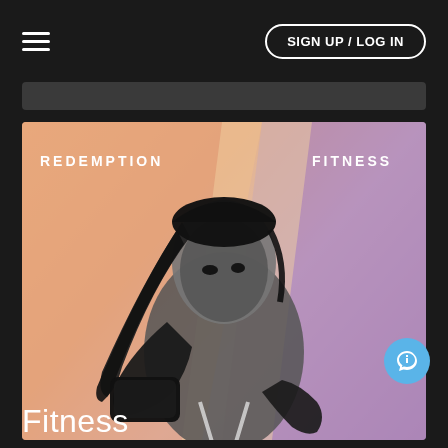SIGN UP / LOG IN
[Figure (photo): A female boxer with braided hair wearing hand wraps in a fighting stance, against a pastel pink/orange and purple geometric background. Text overlay reads REDEMPTION on the left and FITNESS on the right.]
Fitness